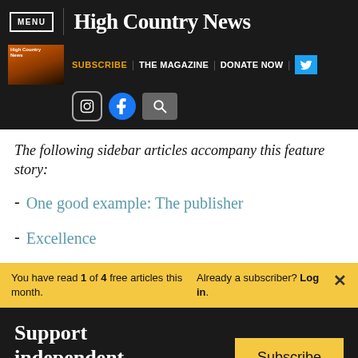MENU | High Country News
SUBSCRIBE | THE MAGAZINE | DONATE NOW
The following sidebar articles accompany this feature story:
- One good example: The publisher
- Excellence
You have read 1 of 4 free articles this month.
Already a subscriber? Log in.
Support independent journalism.
Subscribe